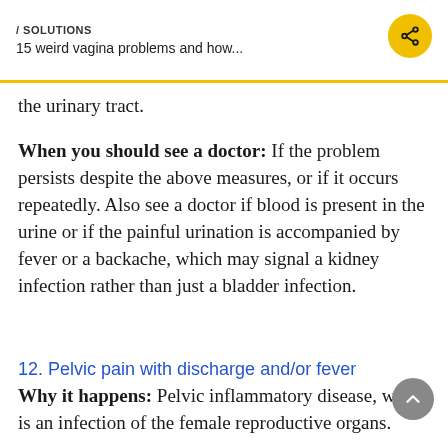/ SOLUTIONS
15 weird vagina problems and how...
the urinary tract.
When you should see a doctor: If the problem persists despite the above measures, or if it occurs repeatedly. Also see a doctor if blood is present in the urine or if the painful urination is accompanied by fever or a backache, which may signal a kidney infection rather than just a bladder infection.
12. Pelvic pain with discharge and/or fever
Why it happens: Pelvic inflammatory disease, which is an infection of the female reproductive organs.
What you can do about it: See your doctor urgently. You